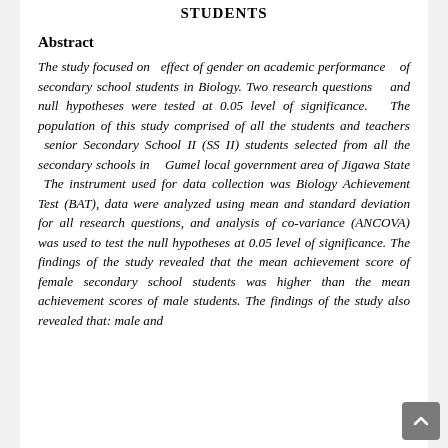STUDENTS
Abstract
The study focused on effect of gender on academic performance of secondary school students in Biology. Two research questions and null hypotheses were tested at 0.05 level of significance. The population of this study comprised of all the students and teachers senior Secondary School II (SS II) students selected from all the secondary schools in Gumel local government area of Jigawa State The instrument used for data collection was Biology Achievement Test (BAT), data were analyzed using mean and standard deviation for all research questions, and analysis of co-variance (ANCOVA) was used to test the null hypotheses at 0.05 level of significance. The findings of the study revealed that the mean achievement score of female secondary school students was higher than the mean achievement scores of male students. The findings of the study also revealed that: male and female secondary school students to study Biology